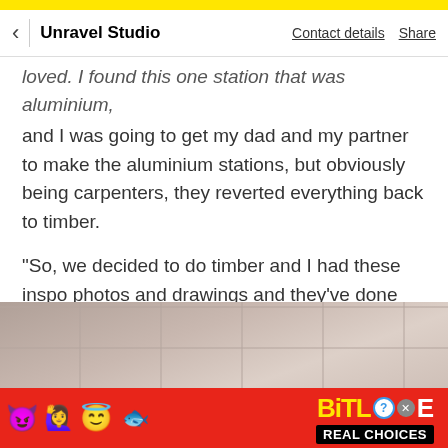Unravel Studio | Contact details  Share
loved. I found this one station that was aluminium, and I was going to get my dad and my partner to make the aluminium stations, but obviously being carpenters, they reverted everything back to timber.
“So, we decided to do timber and I had these inspo photos and drawings and they’ve done really well. They were worried that what they were seeing, was not what I was seeing; but we got there in the end and now they’re the statement pieces of the space.”
[Figure (photo): Interior ceiling photo, light grey with grid tile pattern]
[Figure (infographic): BitLife app advertisement banner — red background with emoji characters (devil, girl, halo emoji), sperm icon, BitLife logo in yellow, and 'REAL CHOICES' text on black background]